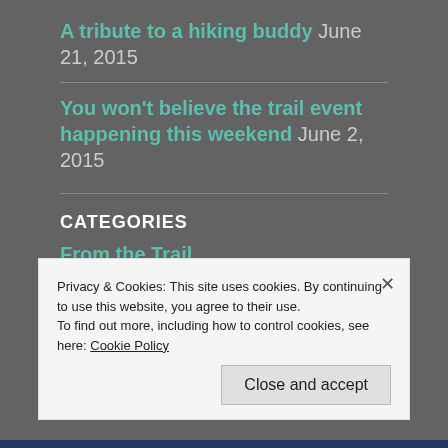A tribute to a hiking buddy June 21, 2015
You won't believe the trail event happening this weekend June 2, 2015
CATEGORIES
From the Trail
Something Extra
Privacy & Cookies: This site uses cookies. By continuing to use this website, you agree to their use.
To find out more, including how to control cookies, see here: Cookie Policy
Close and accept